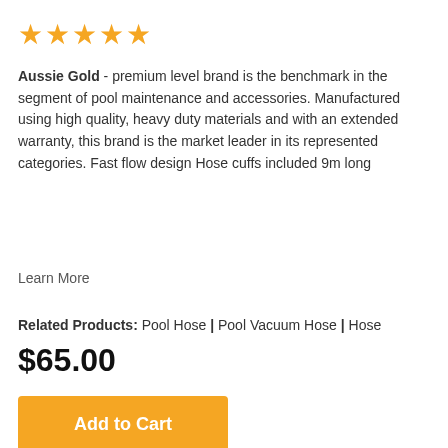[Figure (other): Five gold star rating icons]
Aussie Gold - premium level brand is the benchmark in the segment of pool maintenance and accessories. Manufactured using high quality, heavy duty materials and with an extended warranty, this brand is the market leader in its represented categories. Fast flow design Hose cuffs included 9m long
Learn More
Related Products: Pool Hose | Pool Vacuum Hose | Hose
$65.00
Add to Cart